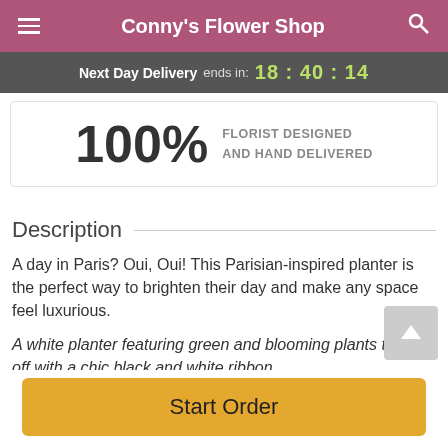Conny's Flower Shop
Next Day Delivery ends in: 18:40:14
100% FLORIST DESIGNED AND HAND DELIVERED
Description
A day in Paris? Oui, Oui! This Parisian-inspired planter is the perfect way to brighten their day and make any space feel luxurious.
A white planter featuring green and blooming plants topped off with a chic black and white ribbon.
Start Order